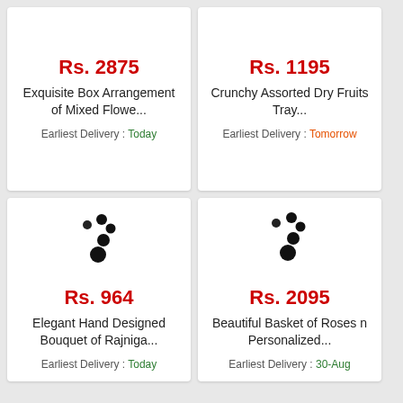Rs. 2875
Exquisite Box Arrangement of Mixed Flowe...
Earliest Delivery : Today
Rs. 1195
Crunchy Assorted Dry Fruits Tray...
Earliest Delivery : Tomorrow
[Figure (other): Loading spinner animation dots for product image]
Rs. 964
Elegant Hand Designed Bouquet of Rajniga...
Earliest Delivery : Today
[Figure (other): Loading spinner animation dots for product image]
Rs. 2095
Beautiful Basket of Roses n Personalized...
Earliest Delivery : 30-Aug